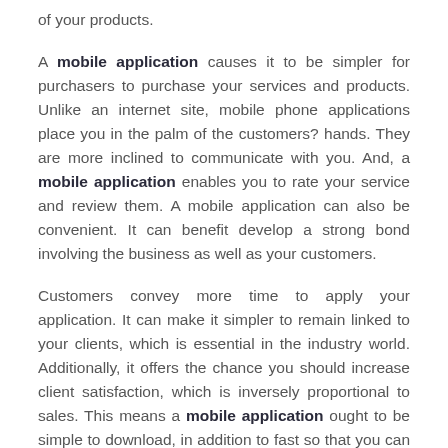of your products.
A mobile application causes it to be simpler for purchasers to purchase your services and products. Unlike an internet site, mobile phone applications place you in the palm of the customers? hands. They are more inclined to communicate with you. And, a mobile application enables you to rate your service and review them. A mobile application can also be convenient. It can benefit develop a strong bond involving the business as well as your customers.
Customers convey more time to apply your application. It can make it simpler to remain linked to your clients, which is essential in the industry world. Additionally, it offers the chance you should increase client satisfaction, which is inversely proportional to sales. This means a mobile application ought to be simple to download, in addition to fast so that you can increase